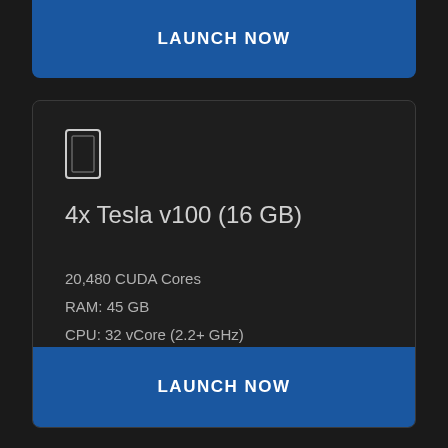LAUNCH NOW
[Figure (illustration): GPU/graphics card icon outline]
4x Tesla v100 (16 GB)
20,480 CUDA Cores
RAM: 45 GB
CPU: 32 vCore (2.2+ GHz)
Disk: 50 GB SSD + 2 TB vHDD
Windows & Linux
LAUNCH NOW